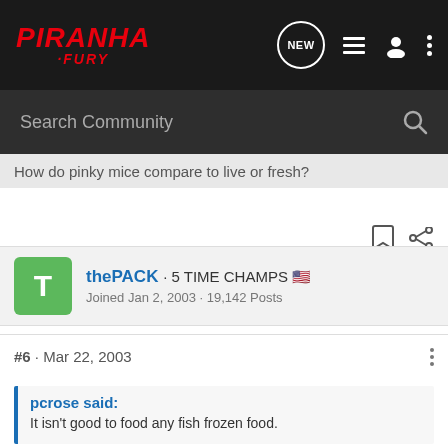PIRANHA FURY - Navigation bar with logo, NEW button, list icon, user icon, more icon
Search Community
How do pinky mice compare to live or fresh?
thePACK · 5 TIME CHAMPS
Joined Jan 2, 2003 · 19,142 Posts
#6 · Mar 22, 2003
pcrose said:
It isn't good to food any fish frozen food.